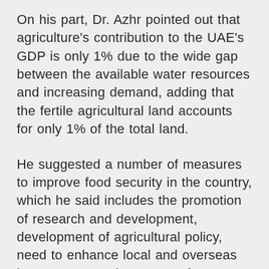On his part, Dr. Azhr pointed out that agriculture's contribution to the UAE's GDP is only 1% due to the wide gap between the available water resources and increasing demand, adding that the fertile agricultural land accounts for only 1% of the total land.
He suggested a number of measures to improve food security in the country, which he said includes the promotion of research and development, development of agricultural policy, need to enhance local and overseas investments, optimum use of water and agricultural land, private sector investment locally and abroad and liaison between local investors and Government bodies in identifying priority projects.